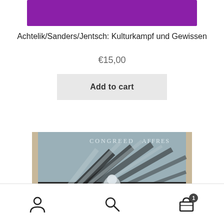[Figure (photo): Purple/violet banner image at the top of a product page]
Achtelik/Sanders/Jentsch: Kulturkampf und Gewissen
€15,00
Add to cart
[Figure (photo): Book cover showing dark monochrome illustration with rays of light and figures, titled CONGREED AFFRES]
Navigation bar with user icon, search icon, and cart icon with badge showing 1